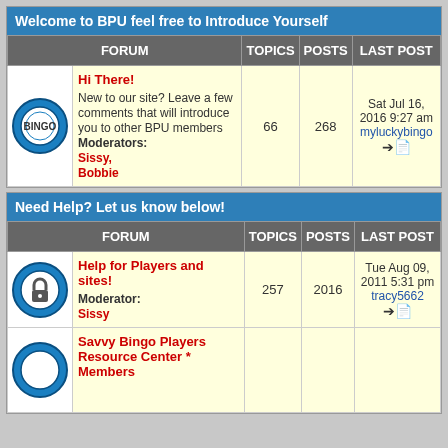Welcome to BPU feel free to Introduce Yourself
| FORUM | TOPICS | POSTS | LAST POST |
| --- | --- | --- | --- |
| Hi There! New to our site? Leave a few comments that will introduce you to other BPU members Moderators: Sissy, Bobbie | 66 | 268 | Sat Jul 16, 2016 9:27 am myluckybingo |
Need Help? Let us know below!
| FORUM | TOPICS | POSTS | LAST POST |
| --- | --- | --- | --- |
| Help for Players and sites! Moderator: Sissy | 257 | 2016 | Tue Aug 09, 2011 5:31 pm tracy5662 |
| Savvy Bingo Players Resource Center * Members |  |  |  |